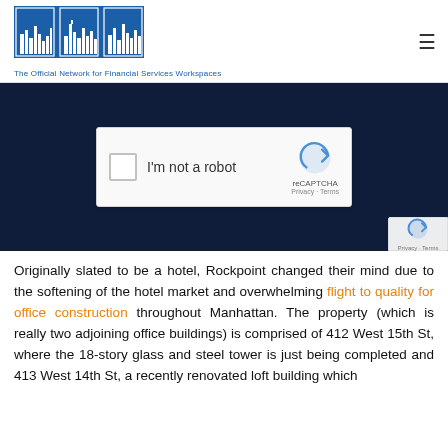[Figure (logo): Hedge Fund Spaces logo with city skyline icon and tagline: The Official Network for Financial Services Workspaces]
[Figure (screenshot): Dark navy background hero section containing a reCAPTCHA widget with 'I'm not a robot' checkbox and reCAPTCHA branding with Privacy and Terms links]
Originally slated to be a hotel, Rockpoint changed their mind due to the softening of the hotel market and overwhelming flight to quality for office construction throughout Manhattan. The property (which is really two adjoining office buildings) is comprised of 412 West 15th St, where the 18-story glass and steel tower is just being completed and 413 West 14th St, a recently renovated loft building which